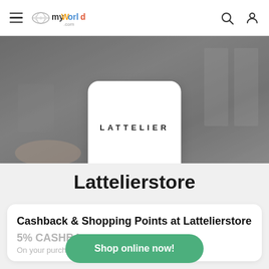myWorld.com — navigation bar with hamburger menu, logo, search and user icons
[Figure (photo): Hero banner background showing a blurred interior scene, with a white rounded card in the center displaying the LATTELIER logo in spaced uppercase letters]
Lattelierstore
Cashback & Shopping Points at Lattelierstore
5% CASHBA...
On your purchase...
Shop online now!